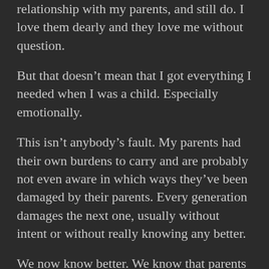relationship with my parents, and still do. I love them dearly and they love me without question.
But that doesn't mean that I got everything I needed when I was a child. Especially emotionally.
This isn't anybody's fault. My parents had their own burdens to carry and are probably not even aware in which ways they've been damaged by their parents. Every generation damages the next one, usually without intent or without really knowing any better.
We now know better. We know that parents influence their children in a fundamental way as they grow up, especially in their early years. Our adult attachments patterns are a repetition of our attachment to our parents, the way they loved us and connected with us.